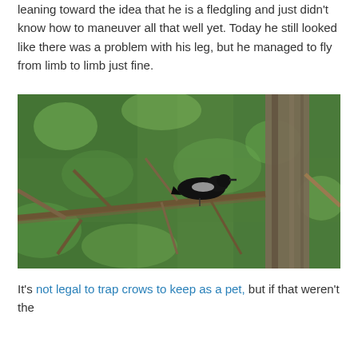leaning toward the idea that he is a fledgling and just didn't know how to maneuver all that well yet. Today he still looked like there was a problem with his leg, but he managed to fly from limb to limb just fine.
[Figure (photo): A black bird (crow) perched on a tree branch in a dense green leafy forest. A large tree trunk is visible on the right side of the image.]
It's not legal to trap crows to keep as a pet, but if that weren't the